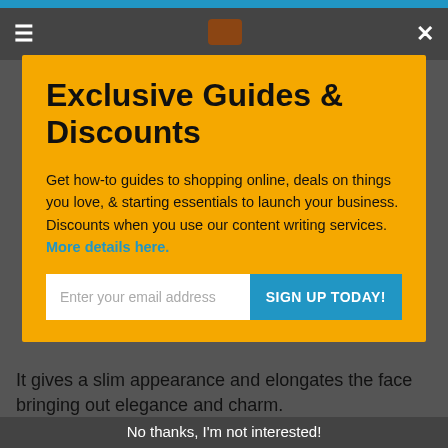≡   [logo]   ✕
Exclusive Guides & Discounts
Get how-to guides to shopping online, deals on things you love, & starting essentials to launch your business. Discounts when you use our content writing services. More details here.
Enter your email address  SIGN UP TODAY!
It gives a slim appearance and elongates the face bringing out elegance and charm.
No thanks, I'm not interested!